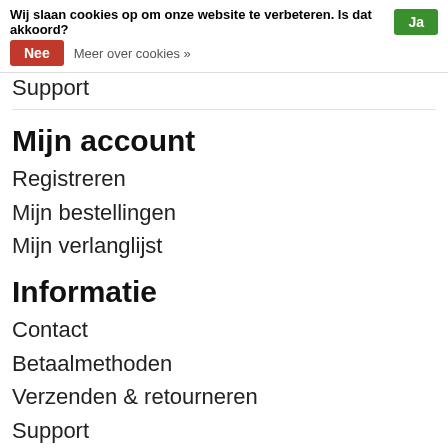Wij slaan cookies op om onze website te verbeteren. Is dat akkoord? Ja
Nee  Meer over cookies »
Support
Mijn account
Registreren
Mijn bestellingen
Mijn verlanglijst
Informatie
Contact
Betaalmethoden
Verzenden & retourneren
Support
Spelend leren (De LEGO Foundation)
Bouw aan vertrouwen in elke klas
21st Century Learning skills